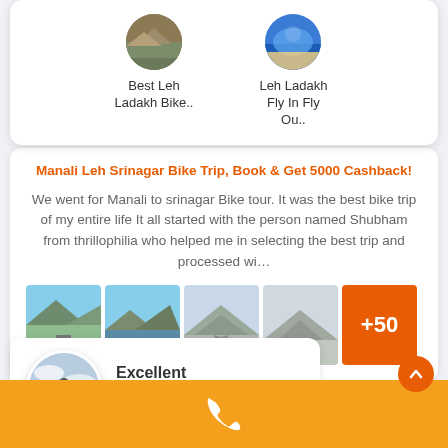[Figure (screenshot): Top navigation card showing two circular thumbnail images: 'Best Leh Ladakh Bike..' and 'Leh Ladakh Fly In Fly Ou..']
Best Leh Ladakh Bike..
Leh Ladakh Fly In Fly Ou..
Manali Leh Srinagar Bike Trip, Book & Get 5000 Cashback!
We went for Manali to srinagar Bike tour. It was the best bike trip of my entire life It all started with the person named Shubham from thrillophilia who helped me in selecting the best trip and processed wi...
[Figure (photo): Four thumbnail photos of mountain landscapes and roads, plus an orange tile showing +50 more photos]
[Figure (photo): Circular avatar photo of a person skydiving, next to 'Excellent' label and star rating]
Excellent
[Figure (infographic): Orange footer bar with white phone/call icon in the center]